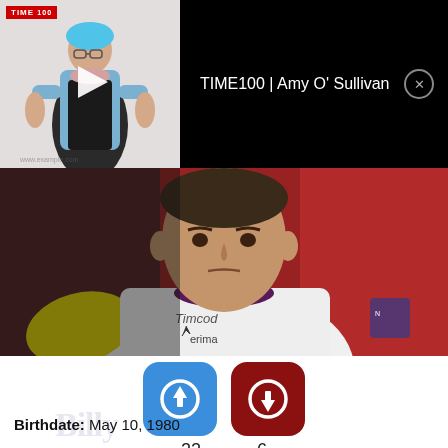[Figure (screenshot): Video thumbnail showing TIME100 Amy O'Sullivan with play button overlay, displayed in a black bar with title text 'TIME100 | Amy O' Sullivan' and a close (X) button]
[Figure (photo): Close-up photo of a male handball player wearing a white and yellow jersey with 'Timcod', 'erima', and 'Air France' branding, looking serious against a red blurred background]
[Figure (infographic): Blue upvote button icon (circular arrow up on rounded square) and dark red downvote button icon (circular arrow down on rounded square)]
22
6
Birthdate: May 10, 1980